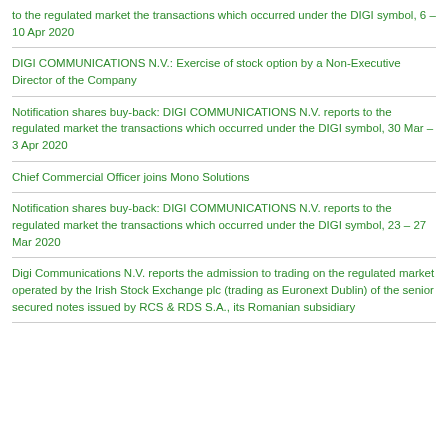to the regulated market the transactions which occurred under the DIGI symbol, 6 – 10 Apr 2020
DIGI COMMUNICATIONS N.V.: Exercise of stock option by a Non-Executive Director of the Company
Notification shares buy-back: DIGI COMMUNICATIONS N.V. reports to the regulated market the transactions which occurred under the DIGI symbol, 30 Mar – 3 Apr 2020
Chief Commercial Officer joins Mono Solutions
Notification shares buy-back: DIGI COMMUNICATIONS N.V. reports to the regulated market the transactions which occurred under the DIGI symbol, 23 – 27 Mar 2020
Digi Communications N.V. reports the admission to trading on the regulated market operated by the Irish Stock Exchange plc (trading as Euronext Dublin) of the senior secured notes issued by RCS & RDS S.A., its Romanian subsidiary